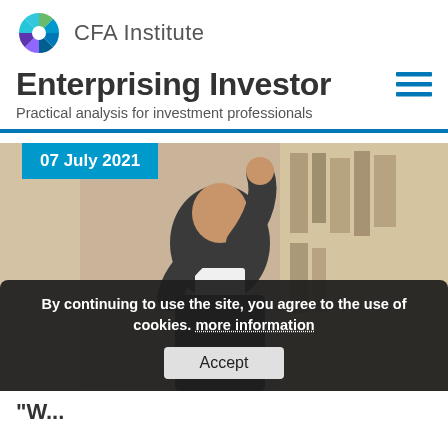CFA Institute
Enterprising Investor
Practical analysis for investment professionals
[Figure (photo): A man in a suit raising his hand, presenting in front of a bookshelf background. Date badge reads '07 July 2021'.]
By continuing to use the site, you agree to the use of cookies. more information
Accept
"W...